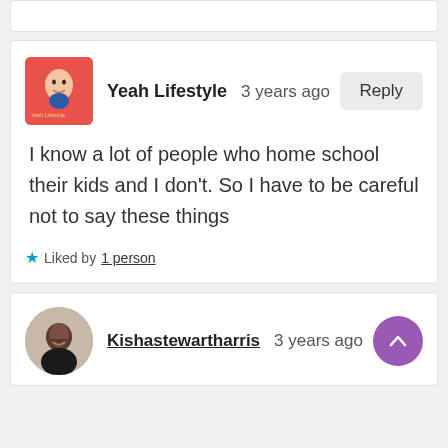Yeah Lifestyle   3 years ago
Reply
I know a lot of people who home school their kids and I don't. So I have to be careful not to say these things
Liked by 1 person
Kishastewartharris   3 years ago